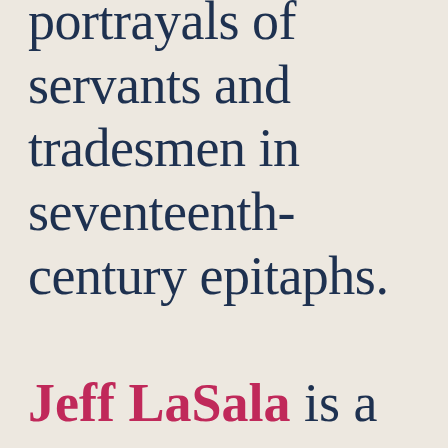portrayals of servants and tradesmen in seventeenth-century epitaphs.
Jeff LaSala is a